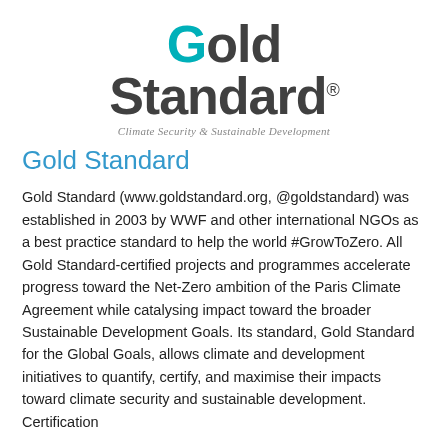[Figure (logo): Gold Standard logo with teal 'G', bold dark grey 'old Standard' text with registered trademark symbol, and italic tagline 'Climate Security & Sustainable Development']
Gold Standard
Gold Standard (www.goldstandard.org, @goldstandard) was established in 2003 by WWF and other international NGOs as a best practice standard to help the world #GrowToZero. All Gold Standard-certified projects and programmes accelerate progress toward the Net-Zero ambition of the Paris Climate Agreement while catalysing impact toward the broader Sustainable Development Goals. Its standard, Gold Standard for the Global Goals, allows climate and development initiatives to quantify, certify, and maximise their impacts toward climate security and sustainable development. Certification